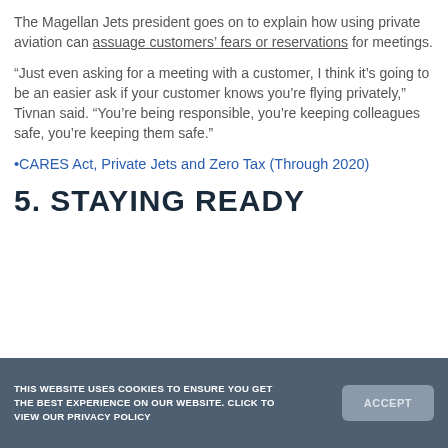The Magellan Jets president goes on to explain how using private aviation can assuage customers' fears or reservations for meetings.
“Just even asking for a meeting with a customer, I think it’s going to be an easier ask if your customer knows you’re flying privately,” Tivnan said. “You’re being responsible, you’re keeping colleagues safe, you’re keeping them safe.”
•CARES Act, Private Jets and Zero Tax (Through 2020)
5. STAYING READY
THIS WEBSITE USES COOKIES TO ENSURE YOU GET THE BEST EXPERIENCE ON OUR WEBSITE. CLICK TO VIEW OUR PRIVACY POLICY